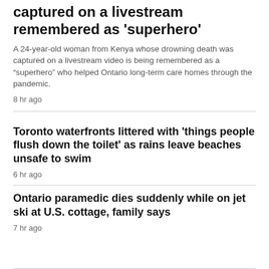captured on a livestream remembered as 'superhero'
A 24-year-old woman from Kenya whose drowning death was captured on a livestream video is being remembered as a “superhero” who helped Ontario long-term care homes through the pandemic.
8 hr ago
Toronto waterfronts littered with 'things people flush down the toilet' as rains leave beaches unsafe to swim
6 hr ago
Ontario paramedic dies suddenly while on jet ski at U.S. cottage, family says
7 hr ago